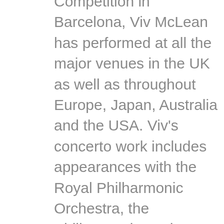Competition in Barcelona, Viv McLean has performed at all the major venues in the UK as well as throughout Europe, Japan, Australia and the USA. Viv's concerto work includes appearances with the Royal Philharmonic Orchestra, the Philharmonia Orchestra, the London Philharmonic Orchestra, the Halle Orchestra, the English Chamber Orchestra, the BBC Concert Orchestra, Sinfonia Viva, Orchestra of the Swan, the London Concert Orchestra, the Scottish Concert Orchestra and the National